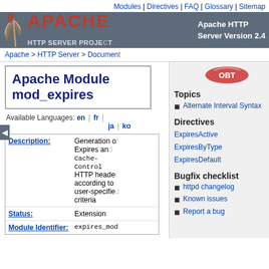Modules | Directives | FAQ | Glossary | Sitemap
[Figure (logo): Apache HTTP Server Project banner with feather logo, red APACHE text and dark background. Server Version 2.4.]
Apache > HTTP Server > Document
Apache Module mod_expires
Available Languages: en | fr | ja | ko
| Field | Value |
| --- | --- |
| Description: | Generation of Expires and Cache-Control HTTP headers according to user-specified criteria |
| Status: | Extension |
| Module Identifier: | expires_mod |
Topics
Alternate Interval Syntax
Directives
ExpiresActive
ExpiresByType
ExpiresDefault
Bugfix checklist
httpd changelog
Known issues